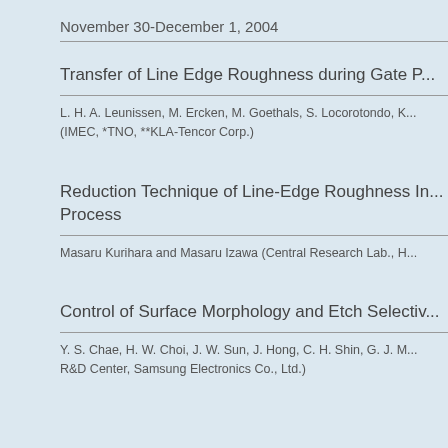November 30-December 1, 2004
Transfer of Line Edge Roughness during Gate P...
L. H. A. Leunissen, M. Ercken, M. Goethals, S. Locorotondo, K...
(IMEC, *TNO, **KLA-Tencor Corp.)
Reduction Technique of Line-Edge Roughness In... Process
Masaru Kurihara and Masaru Izawa (Central Research Lab., H...
Control of Surface Morphology and Etch Selectiv...
Y. S. Chae, H. W. Choi, J. W. Sun, J. Hong, C. H. Shin, G. J. M...
R&D Center, Samsung Electronics Co., Ltd.)